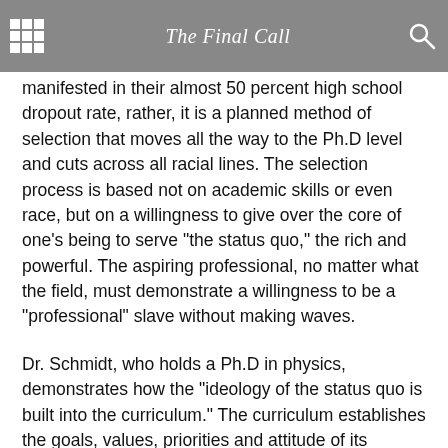The Final Call
manifested in their almost 50 percent high school dropout rate, rather, it is a planned method of selection that moves all the way to the Ph.D level and cuts across all racial lines. The selection process is based not on academic skills or even race, but on a willingness to give over the core of one’s being to serve “the status quo,” the rich and powerful. The aspiring professional, no matter what the field, must demonstrate a willingness to be a “professional” slave without making waves.
Dr. Schmidt, who holds a Ph.D in physics, demonstrates how the “ideology of the status quo is built into the curriculum.” The curriculum establishes the goals, values, priorities and attitude of its students to ensure future employers that the graduate is willing and able to set aside his or her values and do whatever is necessary to “get ahead.” If he changes employers, the graduate is flexible enough to change values to fit in to the new workplace at the drop of a hat. Sounds like a well-adjusted prostitute to me.
The streets of America are red with the blood of our young Black